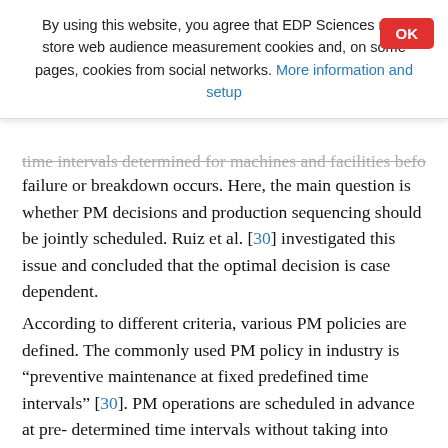By using this website, you agree that EDP Sciences may store web audience measurement cookies and, on some pages, cookies from social networks. More information and setup
time intervals determined for machines and facilities before a failure or breakdown occurs. Here, the main question is whether PM decisions and production sequencing should be jointly scheduled. Ruiz et al. [30] investigated this issue and concluded that the optimal decision is case dependent.
According to different criteria, various PM policies are defined. The commonly used PM policy in industry is "preventive maintenance at fixed predefined time intervals" [30]. PM operations are scheduled in advance at pre-determined time intervals without taking into account a probabilistic behavior for time to failure. The intervals between PM operations can be weekly, monthly or other periods depending on the system. In this policy, fixed time intervals (T_PM) are determined and PM operations are carried